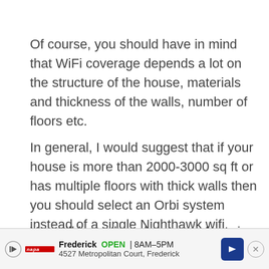Of course, you should have in mind that WiFi coverage depends a lot on the structure of the house, materials and thickness of the walls, number of floors etc.
In general, I would suggest that if your house is more than 2000-3000 sq ft or has multiple floors with thick walls then you should select an Orbi system instead of a single Nighthawk wifi.
You will have the advantage of moving the router and satellite(s) unit to wherever you want in the house in order to cover any blind-spots. Also, if you n[...] exter[...] asily
[Figure (other): Advertisement banner: Frederick OPEN 8AM-5PM, 4527 Metropolitan Court, Frederick, with a navigation arrow badge and close button]